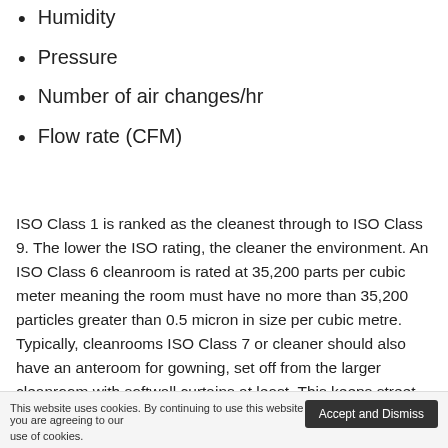Humidity
Pressure
Number of air changes/hr
Flow rate (CFM)
ISO Class 1 is ranked as the cleanest through to ISO Class 9. The lower the ISO rating, the cleaner the environment. An ISO Class 6 cleanroom is rated at 35,200 parts per cubic meter meaning the room must have no more than 35,200 particles greater than 0.5 micron in size per cubic metre. Typically, cleanrooms ISO Class 7 or cleaner should also have an anteroom for gowning, set off from the larger cleanroom with softwall curtains at least. This keeps street dirt from extending into the clean area.
The majority of cleanrooms are positive-pressure.
Air is introduced into the cleanroom, typically at the ceiling level, after passing through high-efficiency...
This website uses cookies. By continuing to use this website you are agreeing to our use of cookies.